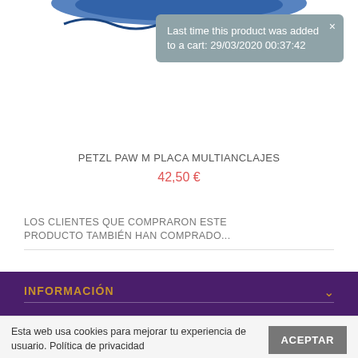[Figure (photo): Top portion of a blue Petzl PAW M climbing equipment product image, partially visible at the top of the page]
Last time this product was added to a cart: 29/03/2020 00:37:42
PETZL PAW M PLACA MULTIANCLAJES
42,50 €
LOS CLIENTES QUE COMPRARON ESTE PRODUCTO TAMBIÉN HAN COMPRADO...
INFORMACIÓN
MI CUENTA
Esta web usa cookies para mejorar tu experiencia de usuario. Política de privacidad
INFORMACIÓN